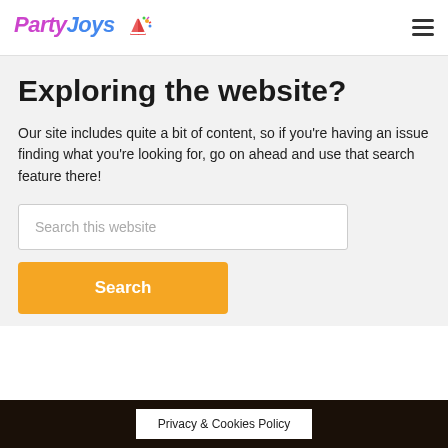PartyJoys [logo with party icon] [hamburger menu]
Exploring the website?
Our site includes quite a bit of content, so if you're having an issue finding what you're looking for, go on ahead and use that search feature there!
Search this website [search input field]
Search [button]
Privacy & Cookies Policy